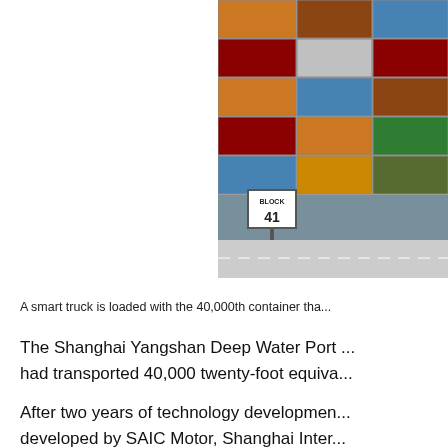[Figure (photo): Photo of stacked shipping containers at a port, with a 'BLOCK 41' sign visible in the foreground and a paved road area below.]
A smart truck is loaded with the 40,000th container tha...
The Shanghai Yangshan Deep Water Port ... had transported 40,000 twenty-foot equiva...
After two years of technology developmen... developed by SAIC Motor, Shanghai Inter... delivering containers between the Yangsha...